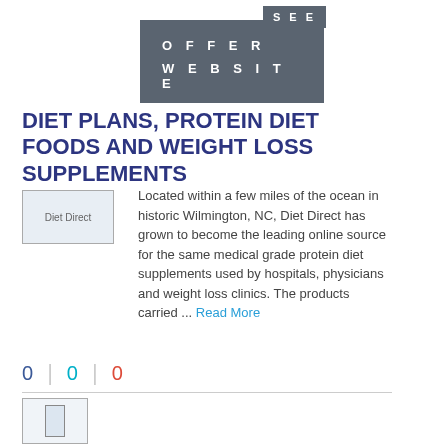[Figure (other): Dark grey banner with text SEE OFFER WEBSITE]
DIET PLANS, PROTEIN DIET FOODS AND WEIGHT LOSS SUPPLEMENTS
[Figure (photo): Diet Direct image placeholder]
Located within a few miles of the ocean in historic Wilmington, NC, Diet Direct has grown to become the leading online source for the same medical grade protein diet supplements used by hospitals, physicians and weight loss clinics. The products carried ... Read More
0 | 0 | 0
[Figure (other): Small thumbnail image at the bottom of the page]